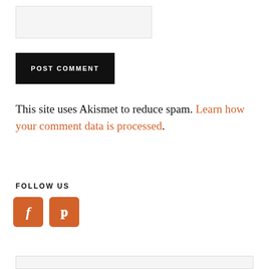[Figure (other): Empty input text box with light gray background]
[Figure (other): Black POST COMMENT button]
This site uses Akismet to reduce spam. Learn how your comment data is processed.
FOLLOW US
[Figure (other): Orange Facebook icon button (f) and orange Pinterest icon button (P)]
[Figure (other): Partially visible box at bottom of page]